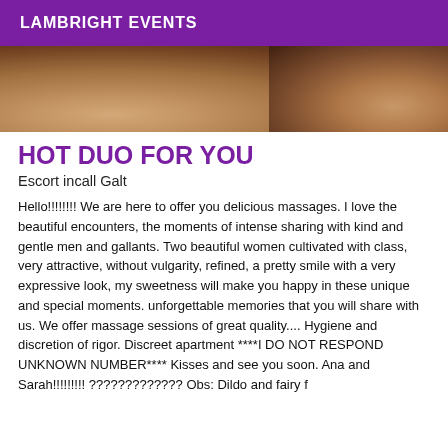LAMBRIGHT EVENTS
[Figure (photo): Close-up photo of two people lying down, cropped to show torsos/backs, warm skin tones against a sandy/neutral background.]
HOT DUO FOR YOU
Escort incall Galt
Hello!!!!!!!! We are here to offer you delicious massages. I love the beautiful encounters, the moments of intense sharing with kind and gentle men and gallants. Two beautiful women cultivated with class, very attractive, without vulgarity, refined, a pretty smile with a very expressive look, my sweetness will make you happy in these unique and special moments. unforgettable memories that you will share with us. We offer massage sessions of great quality.... Hygiene and discretion of rigor. Discreet apartment ****I DO NOT RESPOND UNKNOWN NUMBER**** Kisses and see you soon. Ana and Sarah!!!!!!!!! ????????????? Obs: Dildo and fairy f...